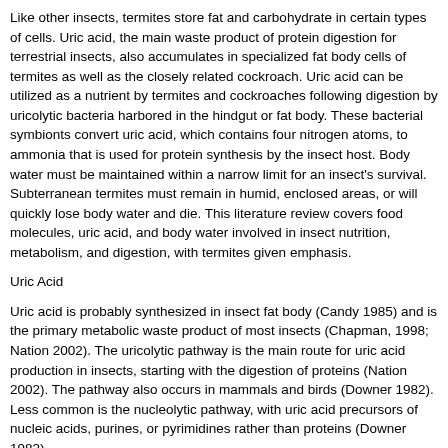Like other insects, termites store fat and carbohydrate in certain types of cells. Uric acid, the main waste product of protein digestion for terrestrial insects, also accumulates in specialized fat body cells of termites as well as the closely related cockroach. Uric acid can be utilized as a nutrient by termites and cockroaches following digestion by uricolytic bacteria harbored in the hindgut or fat body. These bacterial symbionts convert uric acid, which contains four nitrogen atoms, to ammonia that is used for protein synthesis by the insect host. Body water must be maintained within a narrow limit for an insect's survival. Subterranean termites must remain in humid, enclosed areas, or will quickly lose body water and die. This literature review covers food molecules, uric acid, and body water involved in insect nutrition, metabolism, and digestion, with termites given emphasis.
Uric Acid
Uric acid is probably synthesized in insect fat body (Candy 1985) and is the primary metabolic waste product of most insects (Chapman, 1998; Nation 2002). The uricolytic pathway is the main route for uric acid production in insects, starting with the digestion of proteins (Nation 2002). The pathway also occurs in mammals and birds (Downer 1982). Less common is the nucleolytic pathway, with uric acid precursors of nucleic acids, purines, or pyrimidines rather than proteins (Downer 1982).
Some insects store uric acid in specialized fat body cells called urocytes (Chapman 1998). Stored uric acid has been described as precipitated spherules of potassium or sodium urates (Mullins 1979). Insects that store uric acid include tobacco hornworm larvae, larval Chrysopa lacewings, and adult mosquitoes (Chapman 1998).